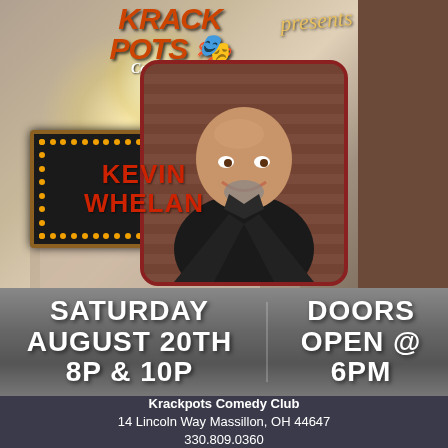[Figure (photo): Krackpots Comedy Club promotional flyer featuring comedian Kevin Whelan. Top section shows club logo, 'presents' text, a marquee sign with Kevin Whelan's name in lights, and a headshot photo of a smiling bald man in a black leather jacket against a brick wall background.]
SATURDAY AUGUST 20TH 8P & 10P
DOORS OPEN @ 6PM
Krackpots Comedy Club
14 Lincoln Way Massillon, OH 44647
330.809.0360